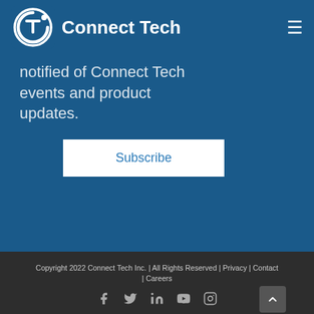Connect Tech
notified of Connect Tech events and product updates.
Subscribe
Copyright 2022 Connect Tech Inc. | All Rights Reserved | Privacy | Contact | Careers